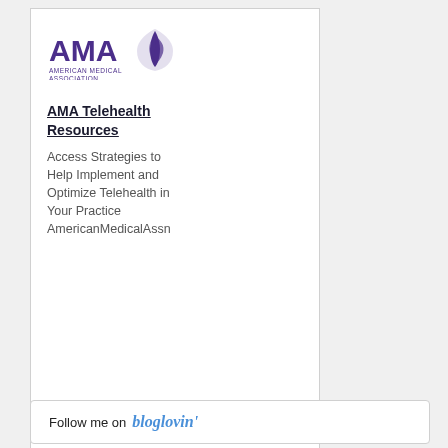[Figure (logo): AMA American Medical Association logo with purple text and leaf/flame graphic]
AMA Telehealth Resources
Access Strategies to Help Implement and Optimize Telehealth in Your Practice AmericanMedicalAssn
Follow me on bloglovin'